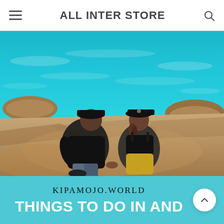ALL INTER STORE
[Figure (photo): Two people wearing black caps sitting side by side on rocky coastal outcrops, facing away toward turquoise ocean waves. The man wears a black t-shirt and jeans; the woman wears a black crop top, yellow shorts, and an Adidas cap. Bright sunny day.]
KIPAMOJO.WORLD
THINGS TO DO IN AND